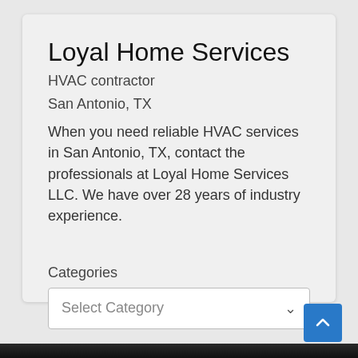Loyal Home Services
HVAC contractor
San Antonio, TX
When you need reliable HVAC services in San Antonio, TX, contact the professionals at Loyal Home Services LLC. We have over 28 years of industry experience.
Categories
Select Category
[Figure (screenshot): Back to top button - blue square with upward chevron arrow]